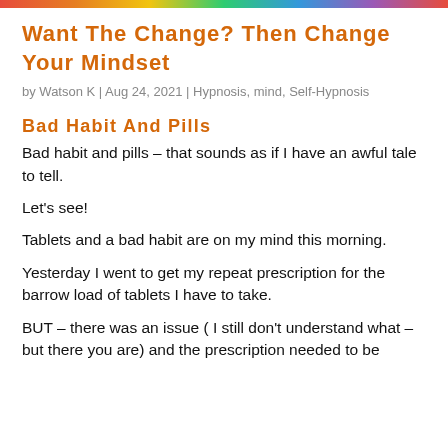Want The Change? Then Change Your Mindset
by Watson K | Aug 24, 2021 | Hypnosis, mind, Self-Hypnosis
Bad Habit And Pills
Bad habit and pills – that sounds as if I have an awful tale to tell.
Let's see!
Tablets and a bad habit are on my mind this morning.
Yesterday I went to get my repeat prescription for the barrow load of tablets I have to take.
BUT – there was an issue ( I still don't understand what – but there you are) and the prescription needed to be